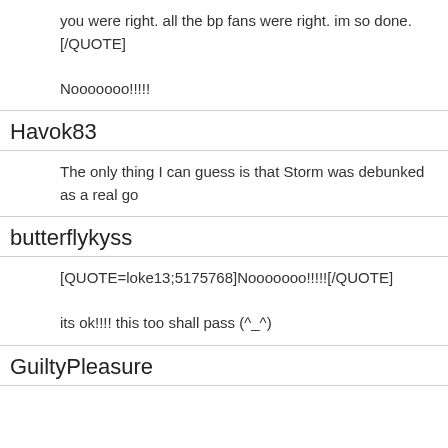you were right. all the bp fans were right. im so done.[/QUOTE]
Nooooooo!!!!!
Havok83
The only thing I can guess is that Storm was debunked as a real go
butterflykyss
[QUOTE=loke13;5175768]Nooooooo!!!!![/QUOTE]
its ok!!!! this too shall pass (^_^)
GuiltyPleasure